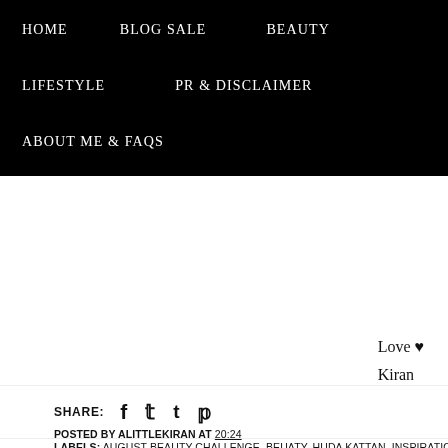HOME   BLOG SALE   BEAUTY   LIFESTYLE   PR & DISCLAIMER   ABOUT ME & FAQs
Love ♥
Kiran
SHARE:
POSTED BY ALITTLEKIRAN AT 20:24
LABELS: AUGUST BEAUTY CHALLENGE, BEUATY, HUDA KATTAN, INSPIRATIO... ARTIST, MAKEUP GEEK, MAKEUP LOOK, MARLENA, NAZANA SAGHAR, NIC C...